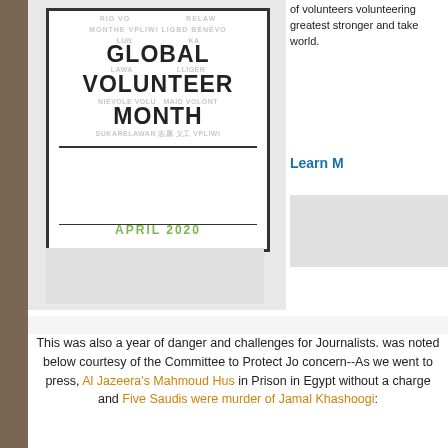[Figure (illustration): Global Volunteer Month April 2020 logo/badge with word cloud background in multiple languages]
of volunteers volunteering greatest stronger and take world.
Learn M
This was also a year of danger and challenges for Journalists. was noted below courtesy of the Committee to Protect Jo concern--As we went to press, Al Jazeera's Mahmoud Hus in Prison in Egypt without a charge and Five Saudis were murder of Jamal Khashoogi:
[Figure (bar-chart): Horizontal bar chart showing worst jailers of journalists worldwide in 2019, with countries listed on y-axis and bars in red extending to the right]